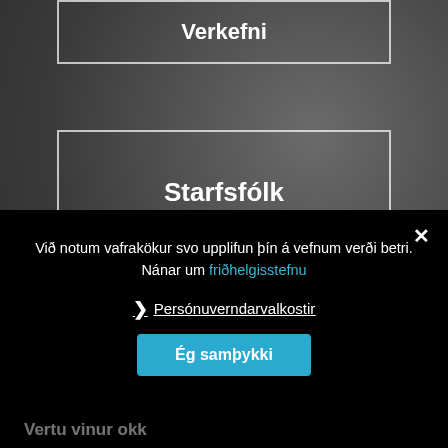Verkefni
Starfsfólk
Skrá mig í félag
Við notum vafrakökur svo upplifun þín á vefnum verði betri. Nánar um friðhelgisstefnu
❯ Persónuverndarvalkostir
Ég samþykki
Vertu vinur okk